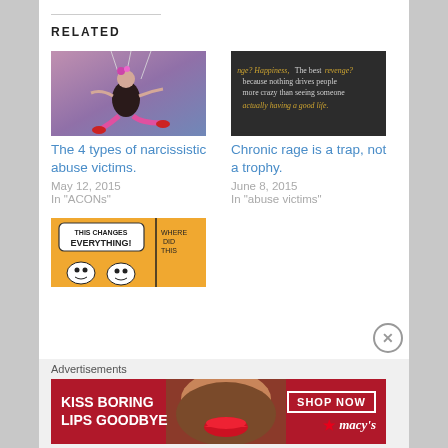RELATED
[Figure (photo): Person performing on stage with strings, dressed in dark outfit with pink/red accents]
The 4 types of narcissistic abuse victims.
May 12, 2015
In "ACONs"
[Figure (photo): Dark background with motivational quote text: The best revenge? Happiness, because nothing drives people more crazy than seeing someone actually having a good life.]
Chronic rage is a trap, not a trophy.
June 8, 2015
In "abuse victims"
[Figure (illustration): Comic strip cartoon with orange background, characters and speech bubbles saying THIS CHANGES EVERYTHING! and WHERE DID THIS]
Advertisements
[Figure (photo): Macy's advertisement: KISS BORING LIPS GOODBYE with SHOP NOW button and Macy's logo, showing woman's face with red lips]